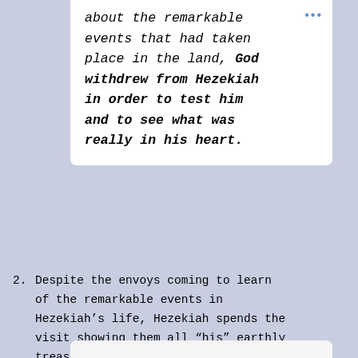...about the remarkable events that had taken place in the land, God withdrew from Hezekiah in order to test him and to see what was really in his heart.
2. Despite the envoys coming to learn of the remarkable events in Hezekiah's life, Hezekiah spends the visit showing them all “his” earthly treasures.